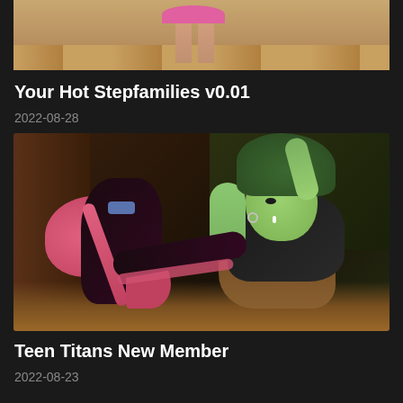[Figure (photo): Partial photo showing lower body of a person in a pink skirt standing on a wood floor, cropped at top]
Your Hot Stepfamilies v0.01
2022-08-28
[Figure (illustration): Animated/cartoon style illustration showing two characters, one with green skin and green hair reclining, and another character with pink outfit]
Teen Titans New Member
2022-08-23